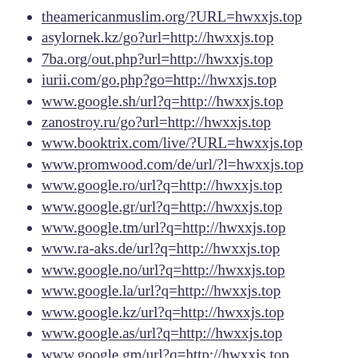theamericanmuslim.org/?URL=hwxxjs.top
asylornek.kz/go?url=http://hwxxjs.top
7ba.org/out.php?url=http://hwxxjs.top
iurii.com/go.php?go=http://hwxxjs.top
www.google.sh/url?q=http://hwxxjs.top
zanostroy.ru/go?url=http://hwxxjs.top
www.booktrix.com/live/?URL=hwxxjs.top
www.promwood.com/de/url/?l=hwxxjs.top
www.google.ro/url?q=http://hwxxjs.top
www.google.gr/url?q=http://hwxxjs.top
www.google.tm/url?q=http://hwxxjs.top
www.ra-aks.de/url?q=http://hwxxjs.top
www.google.no/url?q=http://hwxxjs.top
www.google.la/url?q=http://hwxxjs.top
www.google.kz/url?q=http://hwxxjs.top
www.google.as/url?q=http://hwxxjs.top
www.google.gm/url?q=http://hwxxjs.top
www.civicvoice.org.uk/?URL=hwxxjs.top
www.google.cd/url?q=http://hwxxjs.top